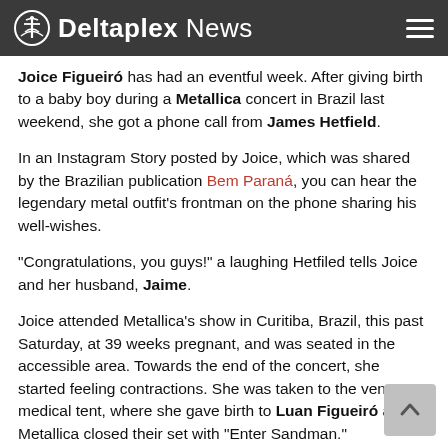Deltaplex News
Joice Figueiró has had an eventful week. After giving birth to a baby boy during a Metallica concert in Brazil last weekend, she got a phone call from James Hetfield.
In an Instagram Story posted by Joice, which was shared by the Brazilian publication Bem Paraná, you can hear the legendary metal outfit's frontman on the phone sharing his well-wishes.
“Congratulations, you guys!” a laughing Hetfiled tells Joice and her husband, Jaime.
Joice attended Metallica’s show in Curitiba, Brazil, this past Saturday, at 39 weeks pregnant, and was seated in the accessible area. Towards the end of the concert, she started feeling contractions. She was taken to the venue’s medical tent, where she gave birth to Luan Figueiró as Metallica closed their set with “Enter Sandman.”